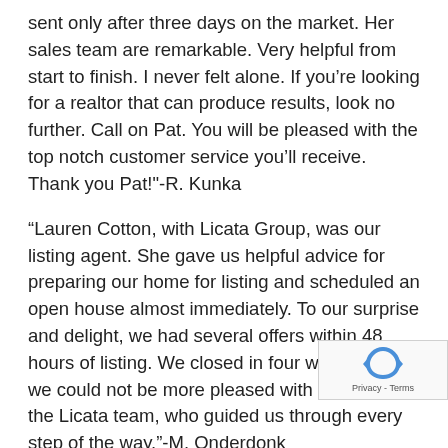sent only after three days on the market. Her sales team are remarkable. Very helpful from start to finish. I never felt alone. If you’re looking for a realtor that can produce results, look no further. Call on Pat. You will be pleased with the top notch customer service you’ll receive. Thank you Pat!"-R. Kunka
“Lauren Cotton, with Licata Group, was our listing agent. She gave us helpful advice for preparing our home for listing and scheduled an open house almost immediately. To our surprise and delight, we had several offers within 48 hours of listing. We closed in four weeks, and we could not be more pleased with Lauren and the Licata team, who guided us through every step of the way."-M. Onderdonk
“I’ve had Pat sell both of my houses within a week. My first house had a real estate agent who appraised it too